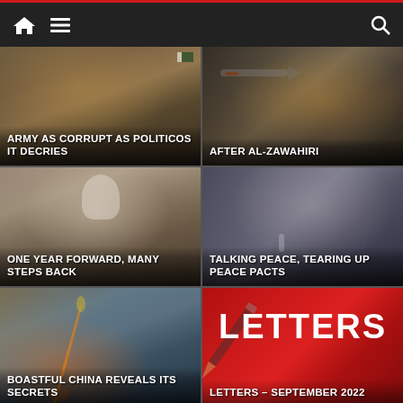Navigation bar with home, menu, and search icons
[Figure (photo): Crowd with flags at a political rally, Pakistan flags visible. Caption: ARMY AS CORRUPT AS POLITICOS IT DECRIES]
[Figure (photo): Military weapons/rocket launchers. Caption: AFTER AL-ZAWAHIRI]
[Figure (photo): Man in white head covering with beard. Caption: ONE YEAR FORWARD, MANY STEPS BACK]
[Figure (photo): Man in dark outfit speaking at a podium. Caption: TALKING PEACE, TEARING UP PEACE PACTS]
[Figure (photo): Missile launch against sky backdrop. Caption: BOASTFUL CHINA REVEALS ITS SECRETS]
[Figure (photo): Red background with LETTERS large text and pen/pencil. Caption: LETTERS – SEPTEMBER 2022]